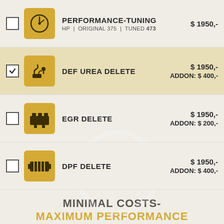PERFORMANCE-TUNING  $ 1950,-  HP | ORIGINAL 375 | TUNED 473
DEF UREA DELETE  $ 1950,-  ADDON: $ 400,-
EGR DELETE  $ 1950,-  ADDON: $ 200,-
DPF DELETE  $ 1950,-  ADDON: $ 400,-
MINIMAL COSTS- MAXIMUM PERFORMANCE
BEST TUNING-TOOL FOR AGRICULTURAL MACHINES
With Tuning24 you will not need expensive experts or